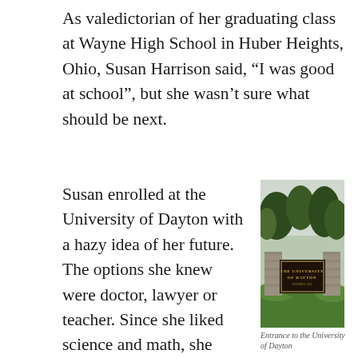As valedictorian of her graduating class at Wayne High School in Huber Heights, Ohio, Susan Harrison said, “I was good at school”, but she wasn’t sure what should be next.
Susan enrolled at the University of Dayton with a hazy idea of her future. The options she knew were doctor, lawyer or teacher. Since she liked science and math, she began as a pre-
[Figure (photo): Photograph of the entrance sign to the University of Dayton, showing a stone gate structure with a dark sign reading THE UNIVERSITY OF DAYTON, surrounded by trees and shrubs.]
Entrance to the University of Dayton